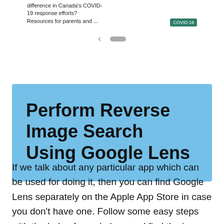[Figure (screenshot): A screenshot of a mobile browser showing a web page about COVID-19 with text 'difference in Canada's COVID-19 response efforts? Resources for parents and ...' and a green COVID-19 tag, with navigation arrows below.]
Perform Reverse Image Search Using Google Lens
If we talk about any particular app which can be used for doing it, then you can find Google Lens separately on the Apple App Store in case you don't have one. Follow some easy steps with the help of google lens and find the image source.